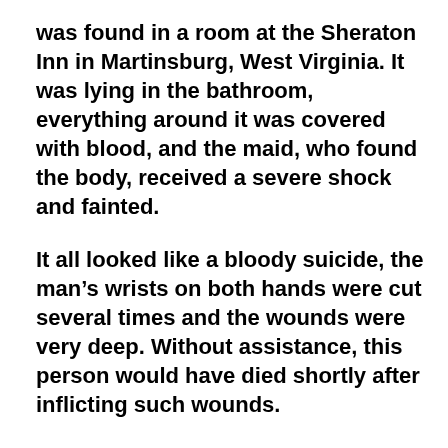was found in a room at the Sheraton Inn in Martinsburg, West Virginia. It was lying in the bathroom, everything around it was covered with blood, and the maid, who found the body, received a severe shock and fainted.
It all looked like a bloody suicide, the man's wrists on both hands were cut several times and the wounds were very deep. Without assistance, this person would have died shortly after inflicting such wounds.